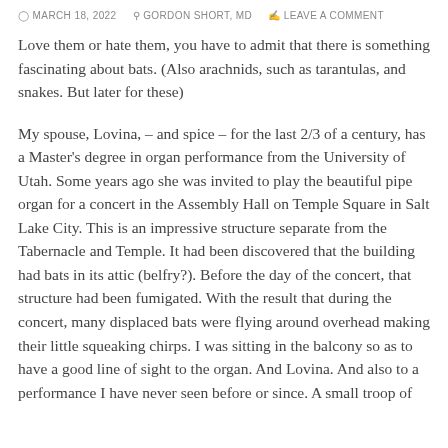MARCH 18, 2022  GORDON SHORT, MD  LEAVE A COMMENT
Love them or hate them, you have to admit that there is something fascinating about bats. (Also arachnids, such as tarantulas, and snakes. But later for these)
My spouse, Lovina, – and spice – for the last 2/3 of a century, has a Master's degree in organ performance from the University of Utah. Some years ago she was invited to play the beautiful pipe organ for a concert in the Assembly Hall on Temple Square in Salt Lake City. This is an impressive structure separate from the Tabernacle and Temple. It had been discovered that the building had bats in its attic (belfry?). Before the day of the concert, that structure had been fumigated. With the result that during the concert, many displaced bats were flying around overhead making their little squeaking chirps. I was sitting in the balcony so as to have a good line of sight to the organ. And Lovina. And also to a performance I have never seen before or since. A small troop of